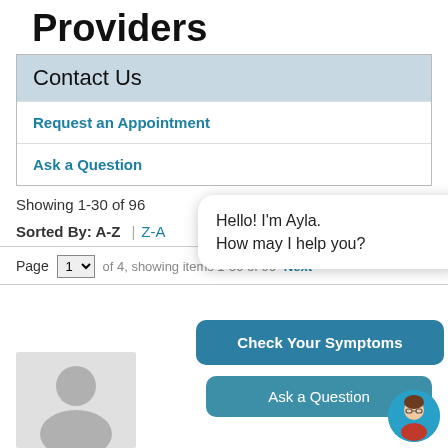Providers
Contact Us
Request an Appointment
Ask a Question
Showing 1-30 of 96
Sorted By: A-Z | Z-A
Page 1 of 4, showing items 1-30 of 96 Next
[Figure (screenshot): Ayla chatbot popup with message 'Hello! I'm Ayla. How may I help you?' and two buttons: 'Check Your Symptoms' and 'Ask a Question', with chatbot avatar]
[Figure (photo): Default provider silhouette photo placeholder in light grey]